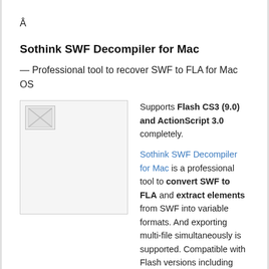Â
Sothink SWF Decompiler for Mac
— Professional tool to recover SWF to FLA for Mac OS
[Figure (illustration): A broken/placeholder image icon in a bordered box]
Supports Flash CS3 (9.0) and ActionScript 3.0 completely.

Sothink SWF Decompiler for Mac is a professional tool to convert SWF to FLA and extract elements from SWF into variable formats. And exporting multi-file simultaneously is supported. Compatible with Flash versions including Macromedia Flash MX (Flash 6.0), Flash MX 2004 (Flash 7.0), Macromedia Flash 8 and Flash CS3 (9.0). Supports both ActionScript 2.0 and 3.0; and decompiles the code written in ActionScript 2 or 3 and displays the readable code in ActionScript window with syntax highlighting. After the converting, you can get